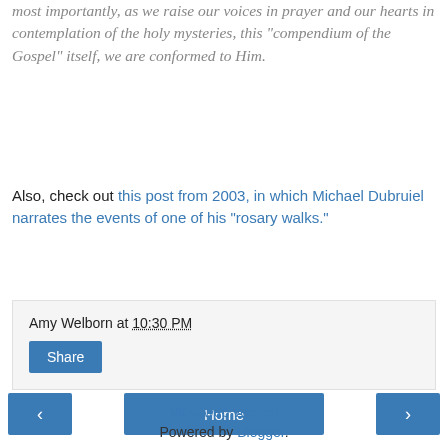most importantly, as we raise our voices in prayer and our hearts in contemplation of the holy mysteries, this “compendium of the Gospel” itself, we are conformed to Him.
Also, check out this post from 2003, in which Michael Dubruiel narrates the events of one of his "rosary walks."
Amy Welborn at 10:30 PM
Share
Home
View web version
Powered by Blogger.